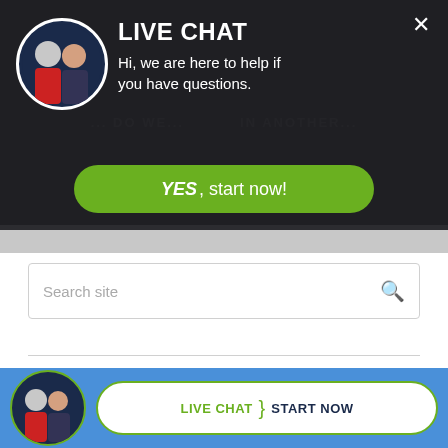[Figure (screenshot): Live chat popup banner with dark background, circular avatar of two men, LIVE CHAT title, subtitle text, and green YES start now button]
LIVE CHAT
Hi, we are here to help if you have questions.
YES, start now!
Search site
Subscribe
To Bart Durham News
LIVE CHAT  >  START NOW